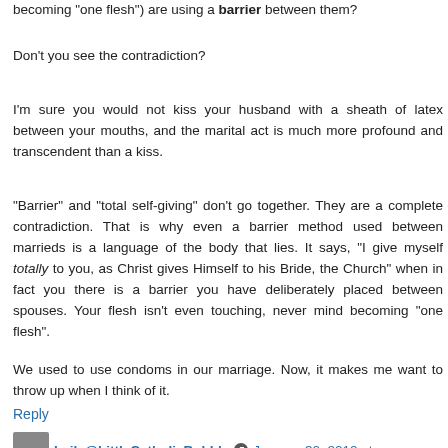becoming "one flesh") are using a barrier between them?
Don't you see the contradiction?
I'm sure you would not kiss your husband with a sheath of latex between your mouths, and the marital act is much more profound and transcendent than a kiss.
"Barrier" and "total self-giving" don't go together. They are a complete contradiction. That is why even a barrier method used between marrieds is a language of the body that lies. It says, "I give myself totally to you, as Christ gives Himself to his Bride, the Church" when in fact you there is a barrier you have deliberately placed between spouses. Your flesh isn't even touching, never mind becoming "one flesh".
We used to use condoms in our marriage. Now, it makes me want to throw up when I think of it.
Reply
Leila@LittleCatholicBubble  January 30, 2012 at